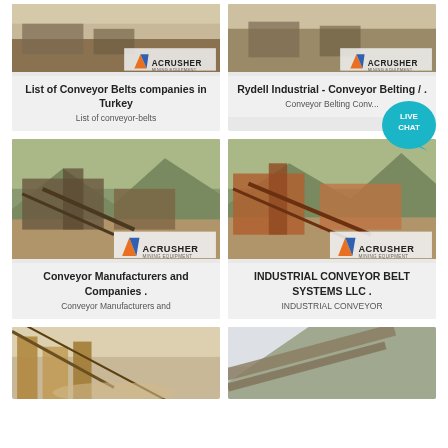[Figure (screenshot): Mining/quarry site image with ACRUSHER MINING EQUIPMENT logo overlay - top left card]
List of Conveyor Belts companies in Turkey
List of conveyor-belts
[Figure (screenshot): Mining/quarry site image with ACRUSHER MINING EQUIPMENT logo overlay - top right card]
Rydell Industrial - Conveyor Belting / .
Conveyor Belting Conv...
[Figure (screenshot): Large mining conveyor machinery site with ACRUSHER MINING EQUIPMENT logo - middle left card]
Conveyor Manufacturers and Companies .
Conveyor Manufacturers and
[Figure (screenshot): Large mining conveyor machinery site with ACRUSHER MINING EQUIPMENT logo - middle right card]
INDUSTRIAL CONVEYOR BELT SYSTEMS LLC .
INDUSTRIAL CONVEYOR
[Figure (screenshot): Mining site bottom left - partial view]
[Figure (screenshot): Mining site bottom right - partial view]